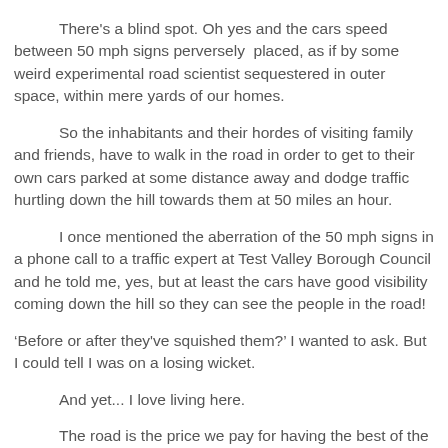There's a blind spot. Oh yes and the cars speed between 50 mph signs perversely placed, as if by some weird experimental road scientist sequestered in outer space, within mere yards of our homes.
So the inhabitants and their hordes of visiting family and friends, have to walk in the road in order to get to their own cars parked at some distance away and dodge traffic hurtling down the hill towards them at 50 miles an hour.
I once mentioned the aberration of the 50 mph signs in a phone call to a traffic expert at Test Valley Borough Council and he told me, yes, but at least the cars have good visibility coming down the hill so they can see the people in the road!
'Before or after they've squished them?' I wanted to ask. But I could tell I was on a losing wicket.
And yet... I love living here.
The road is the price we pay for having the best of the